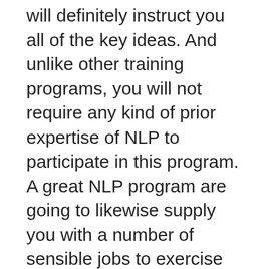will definitely instruct you all of the key ideas. And unlike other training programs, you will not require any kind of prior expertise of NLP to participate in this program. A great NLP program are going to likewise supply you with a number of sensible jobs to exercise what you are actually finding out.
There are actually an amount of factors to take into consideration when choosing a NLP training course. For example, NLP is a